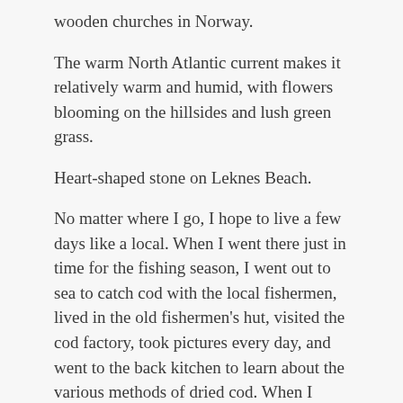wooden churches in Norway.
The warm North Atlantic current makes it relatively warm and humid, with flowers blooming on the hillsides and lush green grass.
Heart-shaped stone on Leknes Beach.
No matter where I go, I hope to live a few days like a local. When I went there just in time for the fishing season, I went out to sea to catch cod with the local fishermen, lived in the old fishermen’s hut, visited the cod factory, took pictures every day, and went to the back kitchen to learn about the various methods of dried cod. When I return to China, I don’t forget to bring two dried cod fish and make a delicious tomato cod soup at home. For a foreigner like me, fishing at sea is fun, and